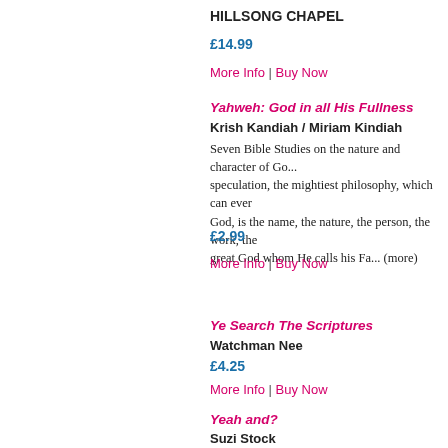HILLSONG CHAPEL
£14.99
More Info | Buy Now
Yahweh: God in all His Fullness
Krish Kandiah / Miriam Kindiah
Seven Bible Studies on the nature and character of God... speculation, the mightiest philosophy, which can ever... God, is the name, the nature, the person, the work, the... great God whom He calls his Fa... (more)
£2.99
More Info | Buy Now
Ye Search The Scriptures
Watchman Nee
£4.25
More Info | Buy Now
Yeah and?
Suzi Stock
. . . Yeah, and? contains 10 weekly sessions for young... 40 minutes. Each sessions includes group discussion, a...